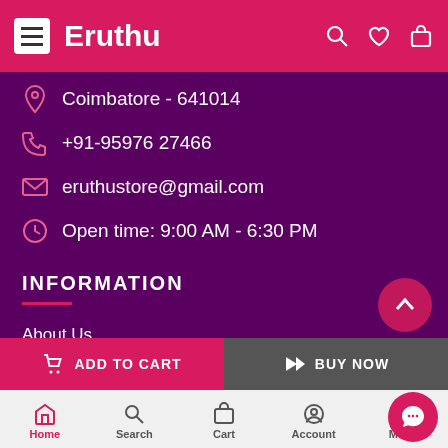Eruthu
Coimbatore - 641014
+91-95976 27466
eruthustore@gmail.com
Open time: 9:00 AM - 6:30 PM
INFORMATION
About Us
Contact Us
ADD TO CART
BUY NOW
Home  Search  Cart  Account  Menu